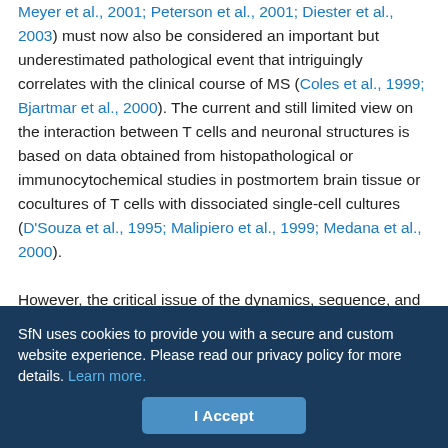Meyer et al., 2001; Peterson et al., 2001; Diester et al., 2003) must now also be considered an important but underestimated pathological event that intriguingly correlates with the clinical course of MS (Coles et al., 1999; Bjartmar et al., 2000). The current and still limited view on the interaction between T cells and neuronal structures is based on data obtained from histopathological or immunocytochemical studies in postmortem brain tissue or cocultures of T cells with dissociated single-cell cultures (D'Souza et al., 1995; Malipiero et al., 1999; Medana et al., 2000).
However, the critical issue of the dynamics, sequence, and functional relevance of a direct interaction between T cells and neurons in the course of T cell trafficking through the complex cellular network of living brain parenchyma can only be addressed in an organ culture
SfN uses cookies to provide you with a secure and custom website experience. Please read our privacy policy for more details. Learn more.